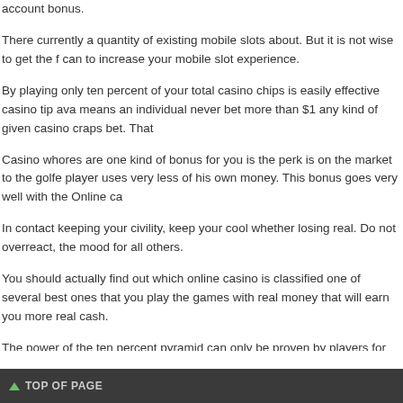account bonus.
There currently a quantity of existing mobile slots about. But it is not wise to get the f can to increase your mobile slot experience.
By playing only ten percent of your total casino chips is easily effective casino tip ava means an individual never bet more than $1 any kind of given casino craps bet. That
Casino whores are one kind of bonus for you is the perk is on the market to the golfe player uses very less of his own money. This bonus goes very well with the Online ca
In contact keeping your civility, keep your cool whether losing real. Do not overreact, the mood for all others.
You should actually find out which online casino is classified one of several best ones that you play the games with real money that will earn you more real cash.
The power of the ten percent pyramid can only be proven by players for themselves, already prepared for you, do it for free, because recognizing that occur is winning.
FILED UNDER: UNCATEGORIZED
TOP OF PAGE